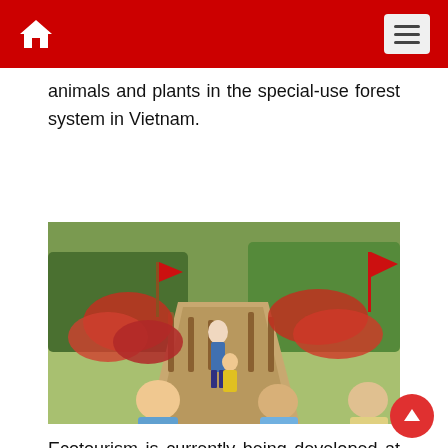animals and plants in the special-use forest system in Vietnam.
[Figure (photo): People walking on a wooden boardwalk path through a flower garden with red bougainvillea flowers and green foliage, with red flags visible. Several visitors including children are visible in the foreground.]
Ecotourism is currently being developed at the Tra Su melaleuca forest. Here, visitors can experience the "ten